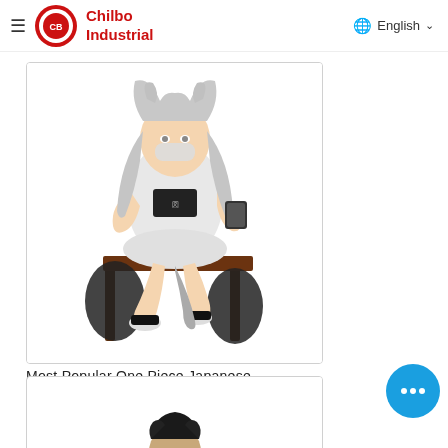Chilbo Industrial | English
[Figure (photo): Anime-style sitting female figure with silver hair, white outfit, seated on a dark bench. Product figurine display photo.]
Most Popular One Piece Japanese ...
[Figure (photo): Armored male action figure in dark tactical/futuristic outfit, standing pose. Product figurine display photo.]